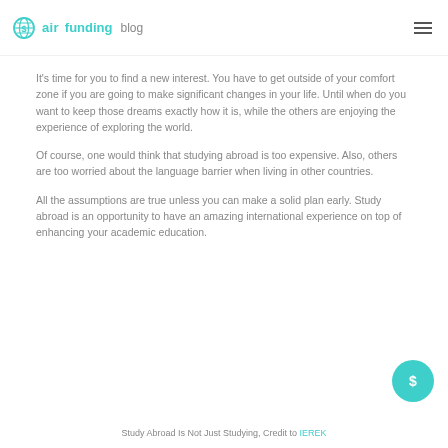airfunding blog
It's time for you to find a new interest. You have to get outside of your comfort zone if you are going to make significant changes in your life. Until when do you want to keep those dreams exactly how it is, while the others are enjoying the experience of exploring the world.
Of course, one would think that studying abroad is too expensive. Also, others are too worried about the language barrier when living in other countries.
All the assumptions are true unless you can make a solid plan early. Study abroad is an opportunity to have an amazing international experience on top of enhancing your academic education.
Study Abroad Is Not Just Studying, Credit to IEREK